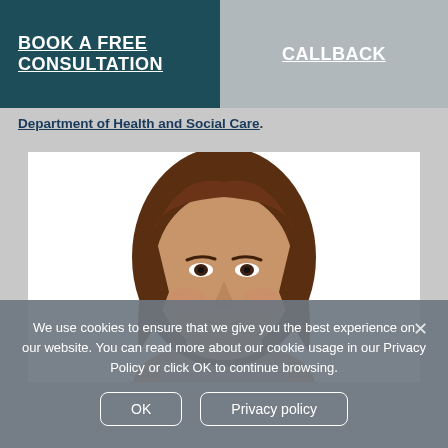BOOK A FREE CONSULTATION | CALLBACK
Department of Health and Social Care.
[Figure (photo): Headshot photo of a woman with medium-length brown hair, cropped at shoulders, on a white background.]
We use cookies to ensure that we give you the best experience on our website. You can read more about our cookie usage in our Privacy Policy or click OK to continue browsing.
OK | Privacy policy